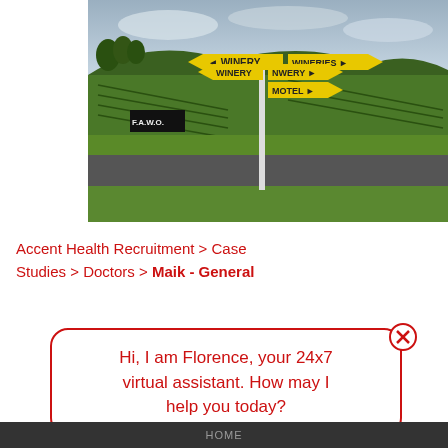[Figure (photo): Outdoor photo of yellow directional signs on a pole reading WINERY, WINERIES, WINERY, MOTEL pointing in various directions, with green vineyard hills and a road in the background, overcast sky. A black sign reading F.A.W.O. is visible near the road.]
Accent Health Recruitment > Case Studies > Doctors > Maik - General
Hi, I am Florence, your 24x7 virtual assistant. How may I help you today?